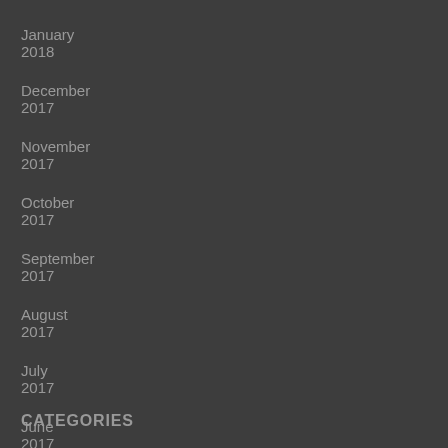January 2018
December 2017
November 2017
October 2017
September 2017
August 2017
July 2017
June 2017
May 2017
CATEGORIES